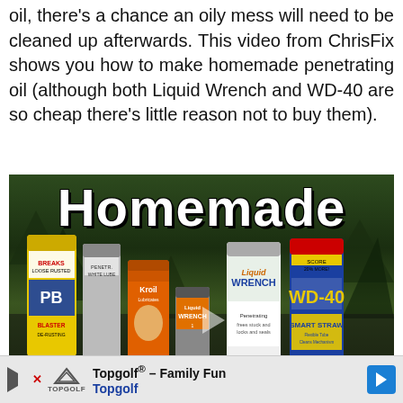oil, there's a chance an oily mess will need to be cleaned up afterwards. This video from ChrisFix shows you how to make homemade penetrating oil (although both Liquid Wrench and WD-40 are so cheap there's little reason not to buy them).
[Figure (photo): Video thumbnail showing various penetrating oil products (PB Blaster, Kroil, Liquid Wrench, WD-40) with large white 'Homemade' text overlay and a play button]
[Figure (other): Advertisement banner for Topgolf - Family Fun showing Topgolf logo, play button, close button, and blue arrow navigation button]